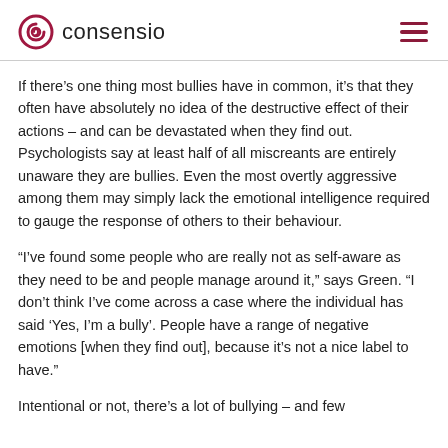consensio
If there’s one thing most bullies have in common, it’s that they often have absolutely no idea of the destructive effect of their actions – and can be devastated when they find out. Psychologists say at least half of all miscreants are entirely unaware they are bullies. Even the most overtly aggressive among them may simply lack the emotional intelligence required to gauge the response of others to their behaviour.
“I’ve found some people who are really not as self-aware as they need to be and people manage around it,” says Green. “I don’t think I’ve come across a case where the individual has said ‘Yes, I’m a bully’. People have a range of negative emotions [when they find out], because it’s not a nice label to have.”
Intentional or not, there’s a lot of bullying – and few